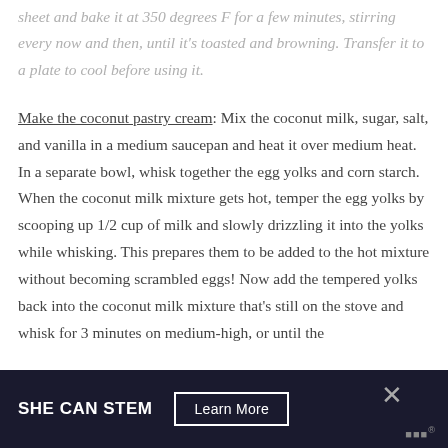sheet and bake it at 350 degrees F for a few minutes, stirring every now and then, until it's toasted and browning. Transfer it to a plate to cool before using it.
Make the coconut pastry cream: Mix the coconut milk, sugar, salt, and vanilla in a medium saucepan and heat it over medium heat. In a separate bowl, whisk together the egg yolks and corn starch. When the coconut milk mixture gets hot, temper the egg yolks by scooping up 1/2 cup of milk and slowly drizzling it into the yolks while whisking. This prepares them to be added to the hot mixture without becoming scrambled eggs! Now add the tempered yolks back into the coconut milk mixture that's still on the stove and whisk for 3 minutes on medium-high, or until the
[Figure (other): Advertisement banner: dark background with text 'SHE CAN STEM', a 'Learn More' button, an X close button, and a small logo in the bottom right corner.]